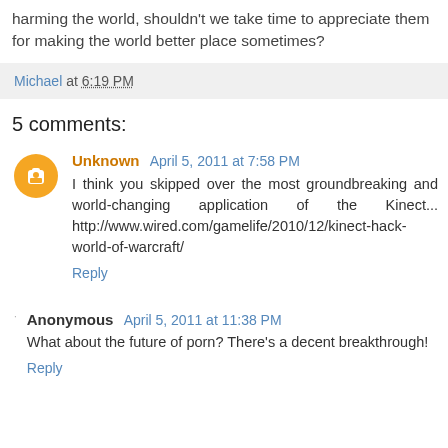harming the world, shouldn't we take time to appreciate them for making the world better place sometimes?
Michael at 6:19 PM
5 comments:
Unknown April 5, 2011 at 7:58 PM
I think you skipped over the most groundbreaking and world-changing application of the Kinect... http://www.wired.com/gamelife/2010/12/kinect-hack-world-of-warcraft/
Reply
Anonymous April 5, 2011 at 11:38 PM
What about the future of porn? There's a decent breakthrough!
Reply